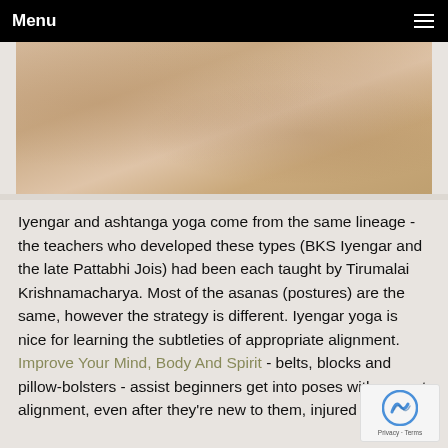Menu
[Figure (photo): Close-up photo of skin texture or natural cork/linen surface with warm beige/tan tones]
Iyengar and ashtanga yoga come from the same lineage - the teachers who developed these types (BKS Iyengar and the late Pattabhi Jois) had been each taught by Tirumalai Krishnamacharya. Most of the asanas (postures) are the same, however the strategy is different. Iyengar yoga is nice for learning the subtleties of appropriate alignment. Improve Your Mind, Body And Spirit - belts, blocks and pillow-bolsters - assist beginners get into poses with correct alignment, even after they're new to them, injured or Simply,